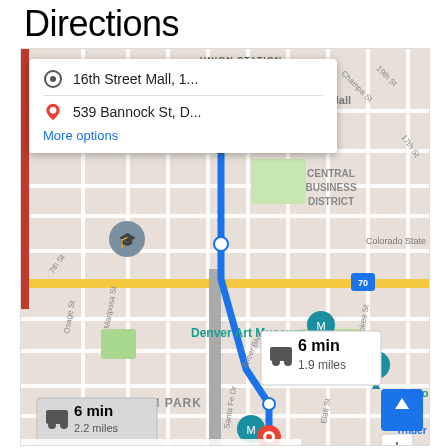Directions
[Figure (map): Google Maps screenshot showing driving directions from 16th Street Mall, Denver to 539 Bannock St, Denver. The route is shown in blue, passing through Central Business District, near Denver Art Museum, through Lincoln Park area. Two time/distance overlays are shown: '6 min / 1.9 miles' and '6 min / 2.2 miles'. Map shows street grid of downtown Denver including landmarks: Union Station, Colorado State Capitol, Denver Art Museum, History Colorado, Trader Joe's. A blue route line runs from the 16th Street Mall area south to 539 Bannock St.]